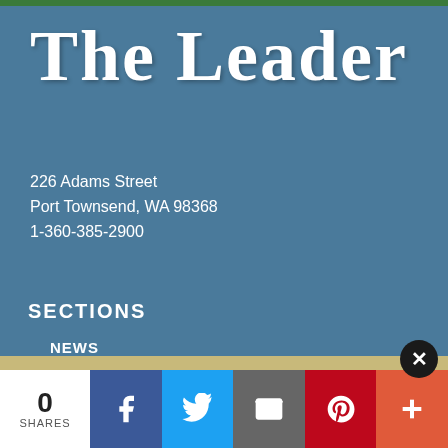The Leader
226 Adams Street
Port Townsend, WA 98368
1-360-385-2900
SECTIONS
NEWS
ARTS & ENTERTAINMENT
SPORTS
CALENDAR
OPINION
0
SHARES